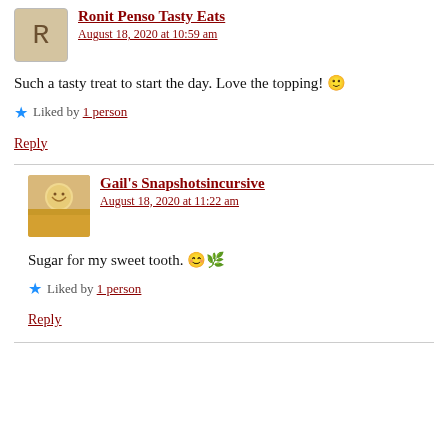Ronit Penso Tasty Eats
August 18, 2020 at 10:59 am
Such a tasty treat to start the day. Love the topping! 🙂
Liked by 1 person
Reply
Gail's Snapshotsincursive
August 18, 2020 at 11:22 am
Sugar for my sweet tooth. 😊🌿
Liked by 1 person
Reply